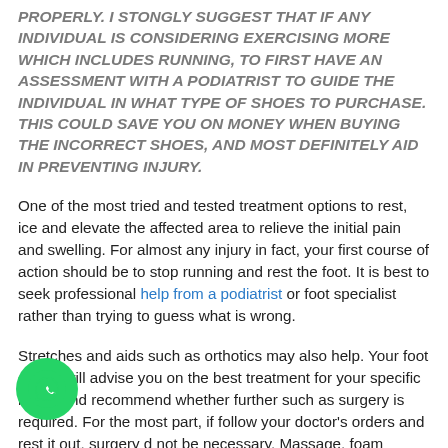PROPERLY. I STONGLY SUGGEST THAT IF ANY INDIVIDUAL IS CONSIDERING EXERCISING MORE WHICH INCLUDES RUNNING, TO FIRST HAVE AN ASSESSMENT WITH A PODIATRIST TO GUIDE THE INDIVIDUAL IN WHAT TYPE OF SHOES TO PURCHASE. THIS COULD SAVE YOU ON MONEY WHEN BUYING THE INCORRECT SHOES, AND MOST DEFINITELY AID IN PREVENTING INJURY.
One of the most tried and tested treatment options to rest, ice and elevate the affected area to relieve the initial pain and swelling. For almost any injury in fact, your first course of action should be to stop running and rest the foot. It is best to seek professional help from a podiatrist or foot specialist rather than trying to guess what is wrong.
Stretches and aids such as orthotics may also help. Your foot doctor will advise you on the best treatment for your specific injury, and recommend whether further such as surgery is required. For the most part, if follow your doctor's orders and rest it out, surgery d not be necessary. Massage, foam rolling, anti-inflammatory medication and pain pills can all help too. Changing your running habits may be needed in some
[Figure (logo): WhatsApp chat button — green circular icon with white WhatsApp logo]